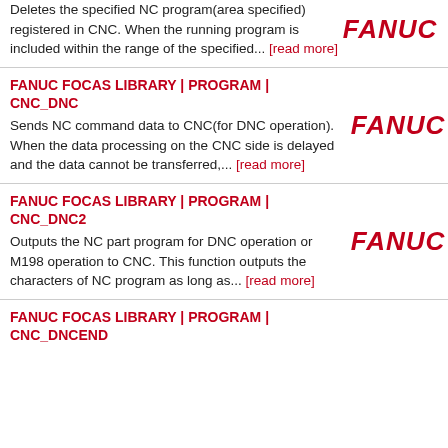Deletes the specified NC program(area specified) registered in CNC. When the running program is included within the range of the specified... [read more]
[Figure (logo): FANUC logo in bold red italic text]
FANUC FOCAS LIBRARY | PROGRAM | CNC_DNC
Sends NC command data to CNC(for DNC operation). When the data processing on the CNC side is delayed and the data cannot be transferred,... [read more]
[Figure (logo): FANUC logo in bold red italic text]
FANUC FOCAS LIBRARY | PROGRAM | CNC_DNC2
Outputs the NC part program for DNC operation or M198 operation to CNC. This function outputs the characters of NC program as long as... [read more]
[Figure (logo): FANUC logo in bold red italic text]
FANUC FOCAS LIBRARY | PROGRAM | CNC_DNCEND